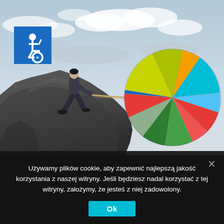[Figure (photo): A man in a suit on a rocky cliff pulling a colorful pie chart with a rope, against a cloudy sky background. A blue accessibility (wheelchair) icon badge is displayed in the upper left corner.]
Używamy plików cookie, aby zapewnić najlepszą jakość korzystania z naszej witryny. Jeśli będziesz nadal korzystać z tej witryny, założymy, że jesteś z niej zadowolony.
Ok